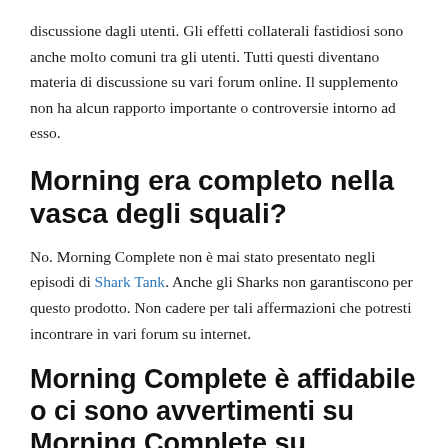discussione dagli utenti. Gli effetti collaterali fastidiosi sono anche molto comuni tra gli utenti. Tutti questi diventano materia di discussione su vari forum online. Il supplemento non ha alcun rapporto importante o controversie intorno ad esso.
Morning era completo nella vasca degli squali?
No. Morning Complete non è mai stato presentato negli episodi di Shark Tank. Anche gli Sharks non garantiscono per questo prodotto. Non cadere per tali affermazioni che potresti incontrare in vari forum su internet.
Morning Complete è affidabile o ci sono avvertimenti su Morning Complete su